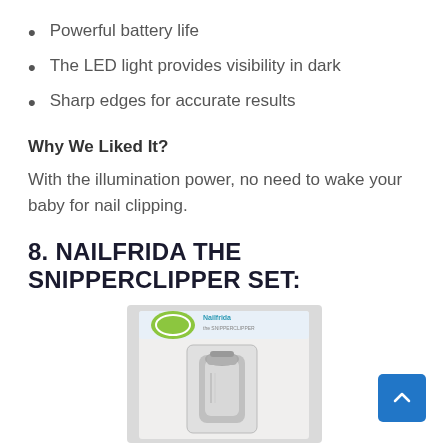Powerful battery life
The LED light provides visibility in dark
Sharp edges for accurate results
Why We Liked It?
With the illumination power, no need to wake your baby for nail clipping.
8. NAILFRIDA THE SNIPPERCLIPPER SET:
[Figure (photo): Product image of Nailfrida The SnipperClipper Set in packaging]